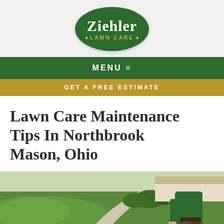[Figure (logo): Ziehler Lawn Care oval green logo with white serif text and gold 'LAWN CARE' subtitle with decorative dots]
MENU ≡
GET A FREE ESTIMATE
Lawn Care Maintenance Tips In Northbrook Mason, Ohio
[Figure (photo): Lawn care worker in green shirt using lawn equipment on a well-maintained lawn with walkway and landscaping in background]